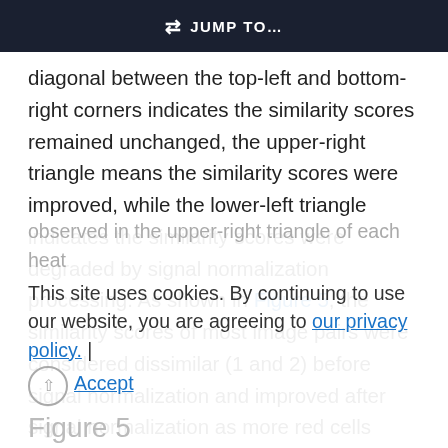JUMP TO…
diagonal between the top-left and bottom-right corners indicates the similarity scores remained unchanged, the upper-right triangle means the similarity scores were improved, while the lower-left triangle indicates the similarity scores were degraded by signal normalization processing. As shown in Figure 5, the similarity scores of most image pairs were considered dissimilar (1 and 2) before signal normalization and improved after signal normalization as more red cells were observed in the upper-right triangle of each heat
This site uses cookies. By continuing to use our website, you are agreeing to our privacy policy.
Accept
Figure 5